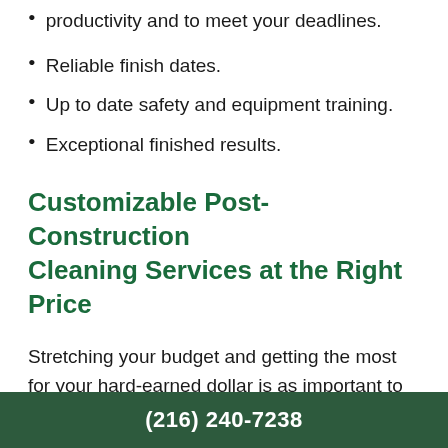productivity and to meet your deadlines.
Reliable finish dates.
Up to date safety and equipment training.
Exceptional finished results.
Customizable Post-Construction Cleaning Services at the Right Price
Stretching your budget and getting the most for your hard-earned dollar is as important to you as it is to us. We recognize that all renos are not the same, and some companies will require more or less new construction cleanup than others. Make the final product sparkle without breaking the bank. The following is just a small sample of the
(216) 240-7238